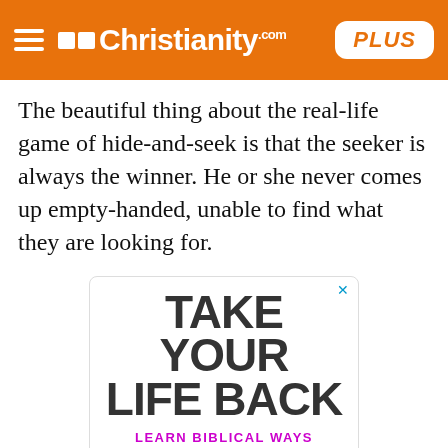Christianity.com PLUS
The beautiful thing about the real-life game of hide-and-seek is that the seeker is always the winner. He or she never comes up empty-handed, unable to find what they are looking for.
[Figure (infographic): Advertisement box with text: TAKE YOUR LIFE BACK / LEARN BIBLICAL WAYS TO LIVE IN FREEDOM / GET A FREE DEVOTIONAL]